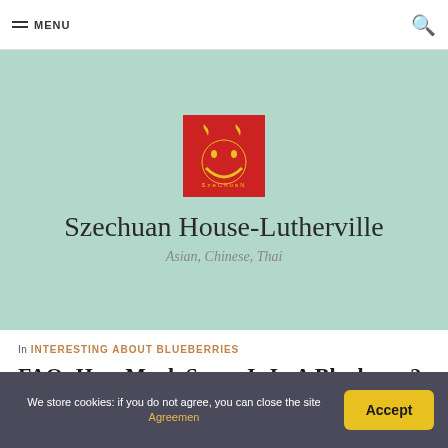MENU
[Figure (logo): Szechuan House restaurant logo: red square background with yellow smiley face made of Chinese-style characters, with two flame/chili icons at top]
Szechuan House-Lutherville
Asian, Chinese, Thai
In INTERESTING ABOUT BLUEBERRIES
FAQ: How Much Sugar Is In A Blueberry?
We store cookies: if you do not agree, you can close the site Agreemen